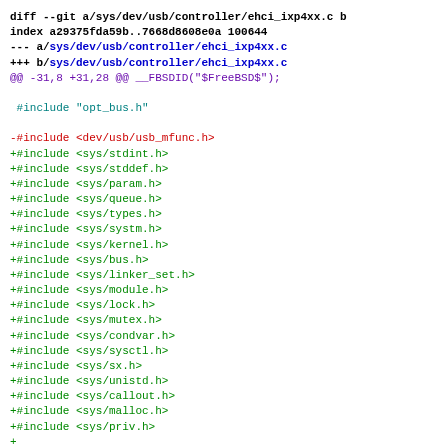diff --git a/sys/dev/usb/controller/ehci_ixp4xx.c b/sys/dev/usb/controller/ehci_ixp4xx.c
index a29375fda59b..7668d8608e0a 100644
--- a/sys/dev/usb/controller/ehci_ixp4xx.c
+++ b/sys/dev/usb/controller/ehci_ixp4xx.c
@@ -31,8 +31,28 @@ __FBSDID("$FreeBSD$");

 #include "opt_bus.h"

-#include <dev/usb/usb_mfunc.h>
+#include <sys/stdint.h>
+#include <sys/stddef.h>
+#include <sys/param.h>
+#include <sys/queue.h>
+#include <sys/types.h>
+#include <sys/systm.h>
+#include <sys/kernel.h>
+#include <sys/bus.h>
+#include <sys/linker_set.h>
+#include <sys/module.h>
+#include <sys/lock.h>
+#include <sys/mutex.h>
+#include <sys/condvar.h>
+#include <sys/sysctl.h>
+#include <sys/sx.h>
+#include <sys/unistd.h>
+#include <sys/callout.h>
+#include <sys/malloc.h>
+#include <sys/priv.h>
+